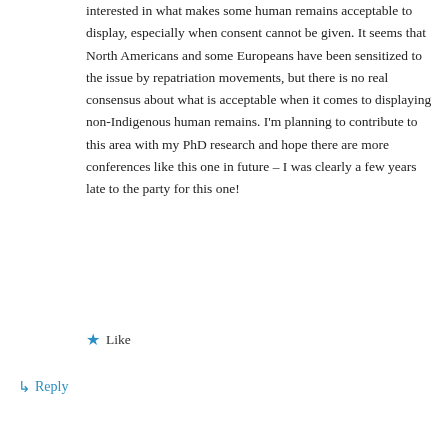interested in what makes some human remains acceptable to display, especially when consent cannot be given. It seems that North Americans and some Europeans have been sensitized to the issue by repatriation movements, but there is no real consensus about what is acceptable when it comes to displaying non-Indigenous human remains. I'm planning to contribute to this area with my PhD research and hope there are more conferences like this one in future – I was clearly a few years late to the party for this one!
Like
Reply